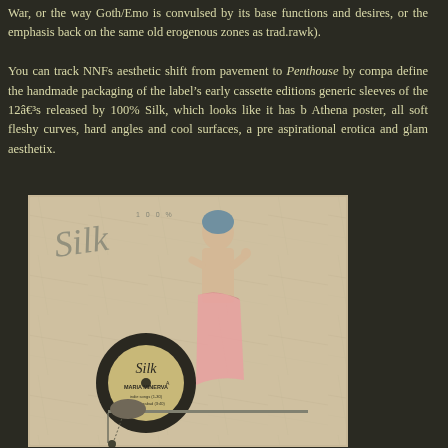War, or the way Goth/Emo is convulsed by its base functions and desires, or the emphasis back on the same old erogenous zones as trad.rawk).

You can track NNFs aesthetic shift from pavement to Penthouse by comparing the define the handmade packaging of the label's early cassette editions generic sleeves of the 12â€³s released by 100% Silk, which looks like it has been Athena poster, all soft fleshy curves, hard angles and cool surfaces, a pre aspirational erotica and glam aesthetix.
[Figure (photo): A 100% Silk record label vinyl sleeve featuring a woman in a pink draped garment with a Silk label vinyl record visible, showing 'MARIA MINERVA' text on the record label.]